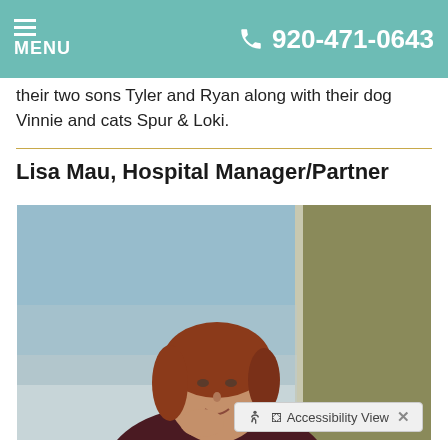MENU  920-471-0643
their two sons Tyler and Ryan along with their dog Vinnie and cats Spur & Loki.
Lisa Mau, Hospital Manager/Partner
[Figure (photo): Portrait photo of Lisa Mau, a woman with reddish-brown hair, smiling and resting her chin on her hand, wearing a dark maroon top with white collar, photographed in front of a window with a blurred outdoor background.]
Accessibility View  ×